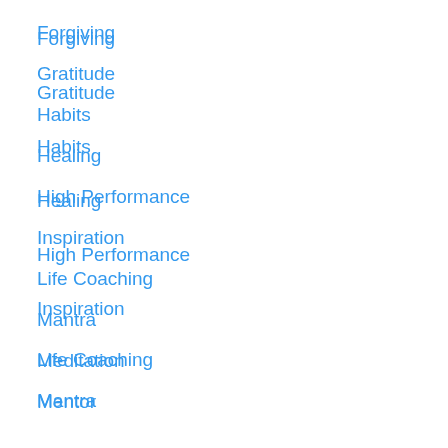Forgiving
Gratitude
Habits
Healing
High Performance
Inspiration
Life Coaching
Mantra
Meditation
Mentor